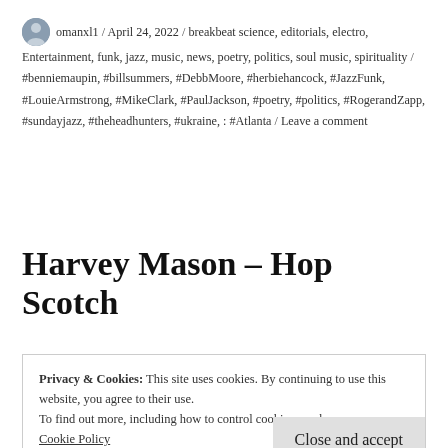omanxl1 / April 24, 2022 / breakbeat science, editorials, electro, Entertainment, funk, jazz, music, news, poetry, politics, soul music, spirituality / #benniemaupin, #billsummers, #DebbMoore, #herbiehancock, #JazzFunk, #LouieArmstrong, #MikeClark, #PaulJackson, #poetry, #politics, #RogerandZapp, #sundayjazz, #theheadhunters, #ukraine, : #Atlanta / Leave a comment
Harvey Mason – Hop Scotch
Privacy & Cookies: This site uses cookies. By continuing to use this website, you agree to their use.
To find out more, including how to control cookies, see here: Cookie Policy
Close and accept
venues, doing this for the tribe!